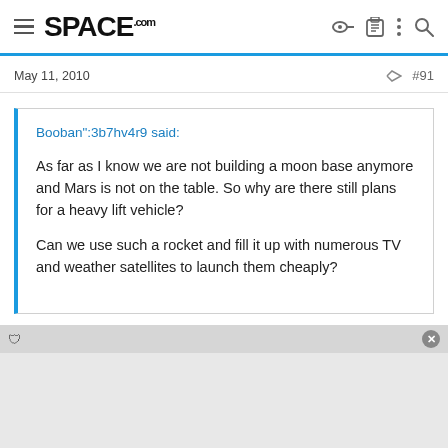SPACE.com
May 11, 2010   #91
Booban":3b7hv4r9 said:

As far as I know we are not building a moon base anymore and Mars is not on the table. So why are there still plans for a heavy lift vehicle?

Can we use such a rocket and fill it up with numerous TV and weather satellites to launch them cheaply?
The President's post-Constellation plans, the long-term plans, talk about sending astronauts beyond Earth orbit toward asteroids and Mars...